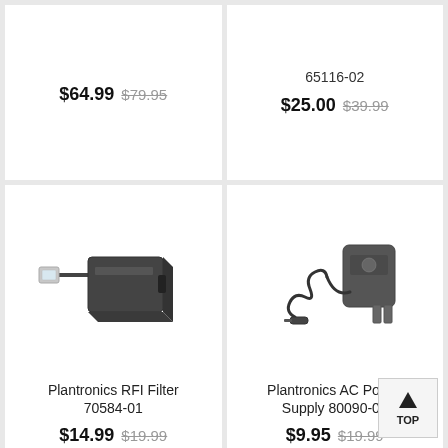$64.99 $79.95
65116-02
$25.00 $39.99
[Figure (photo): Plantronics RFI Filter 70584-01 product photo showing a black inline adapter/filter with RJ connector cable]
Plantronics RFI Filter 70584-01
$14.99 $19.99
[Figure (photo): Plantronics AC Power Supply 80090-05 product photo showing a black AC adapter with coiled cable and plug]
Plantronics AC Power Supply 80090-05
$9.95 $19.99